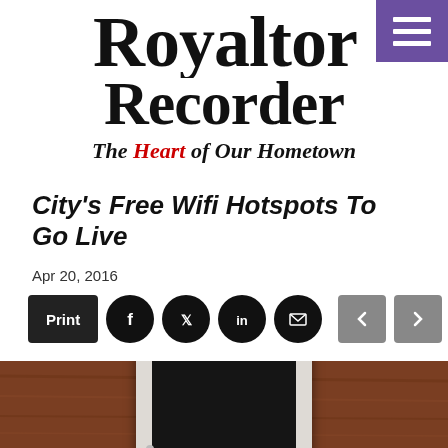Royalton Recorder — The Heart of Our Hometown
City's Free Wifi Hotspots To Go Live
Apr 20, 2016
[Figure (photo): Photo of a white iPad/tablet lying on a brown wood-grain surface with the screen off/black]